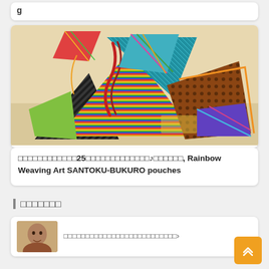g
[Figure (photo): Colorful woven fabric pouches (Rainbow Weaving Art SANTOKU-BUKURO) arranged on a light wooden surface, showing vibrant multi-colored textile patterns]
□□□□□□□□□□□□25□□□□□□□□□□□□□♪□□□□□□, Rainbow Weaving Art SANTOKU-BUKURO pouches
□□□□□□□
[Figure (photo): Small thumbnail photo of a person's face]
□□□□□□□□□□□□□□□□□□□□□□□□□□›